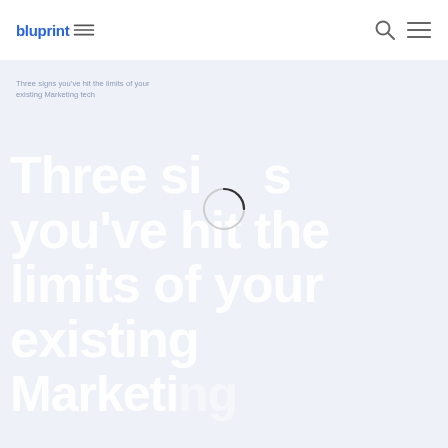bluprint X
Three signs you've hit the limits of your existing Marketing
[Figure (other): Loading spinner circle icon overlaid on large white title text]